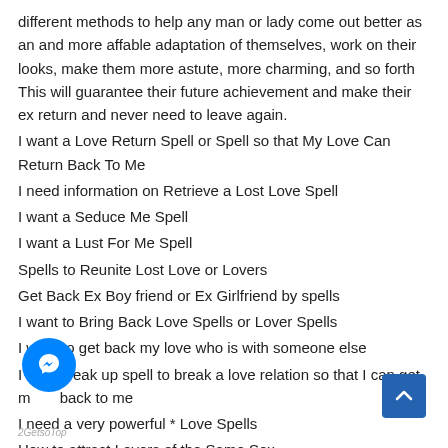different methods to help any man or lady come out better as an and more affable adaptation of themselves, work on their looks, make them more astute, more charming, and so forth This will guarantee their future achievement and make their ex return and never need to leave again.
I want a Love Return Spell or Spell so that My Love Can Return Back To Me
I need information on Retrieve a Lost Love Spell
I want a Seduce Me Spell
I want a Lust For Me Spell
Spells to Reunite Lost Love or Lovers
Get Back Ex Boy friend or Ex Girlfriend by spells
I want to Bring Back Love Spells or Lover Spells
I want to get back my love who is with someone else
I need a break up spell to break a love relation so that I can get my love back to me
I need a very powerful * Love Spells
How to attract Lovers of the Same Sex